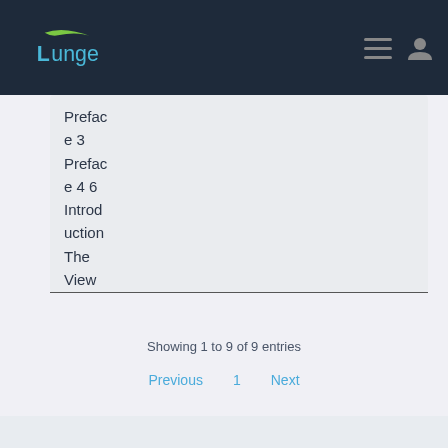Lunge
Preface 3 Preface 4 6 Introduction The View from Multinationals 8 SMEs in In
Showing 1 to 9 of 9 entries
Previous  1  Next